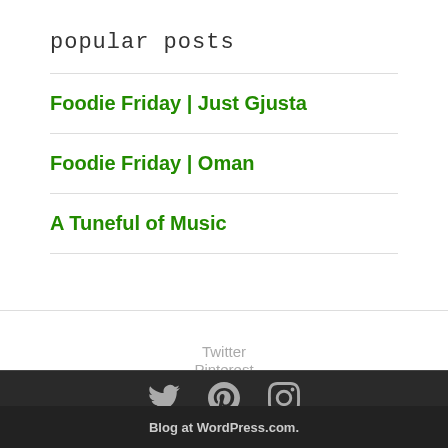popular posts
Foodie Friday | Just Gjusta
Foodie Friday | Oman
A Tuneful of Music
Twitter
Pinterest
Instagram
[Figure (infographic): Footer social icons: Twitter bird, Pinterest P, Instagram camera icons in dark bar]
Blog at WordPress.com.